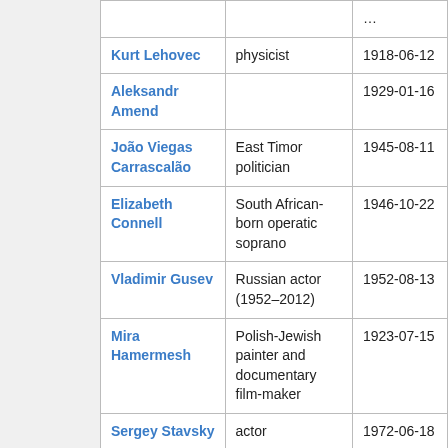| Name | Description | Date |
| --- | --- | --- |
| Kurt Lehovec | physicist | 1918-06-12 |
| Aleksandr Amend |  | 1929-01-16 |
| João Viegas Carrascalão | East Timor politician | 1945-08-11 |
| Elizabeth Connell | South African-born operatic soprano | 1946-10-22 |
| Vladimir Gusev | Russian actor (1952–2012) | 1952-08-13 |
| Mira Hamermesh | Polish-Jewish painter and documentary film-maker | 1923-07-15 |
| Sergey Stavsky | actor | 1972-06-18 |
| Nakamura Jakuemon IV | Kabuki actor | 1920-01-01 |
| Rémi Ochlik | photojournalist | 1983-01-01 |